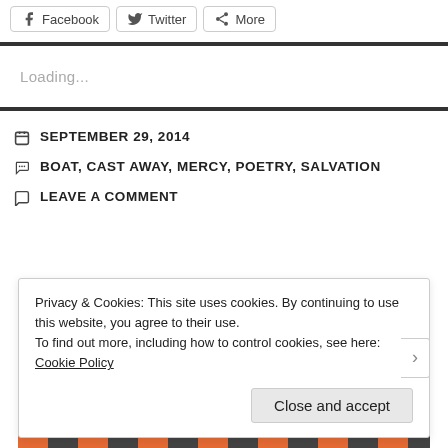Facebook  Twitter  More
Loading...
SEPTEMBER 29, 2014
BOAT, CAST AWAY, MERCY, POETRY, SALVATION
LEAVE A COMMENT
Privacy & Cookies: This site uses cookies. By continuing to use this website, you agree to their use.
To find out more, including how to control cookies, see here: Cookie Policy
Close and accept